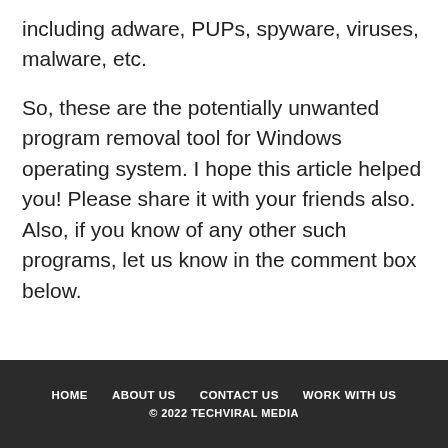including adware, PUPs, spyware, viruses, malware, etc.
So, these are the potentially unwanted program removal tool for Windows operating system. I hope this article helped you! Please share it with your friends also. Also, if you know of any other such programs, let us know in the comment box below.
HOME   ABOUT US   CONTACT US   WORK WITH US
© 2022 TECHVIRAL MEDIA